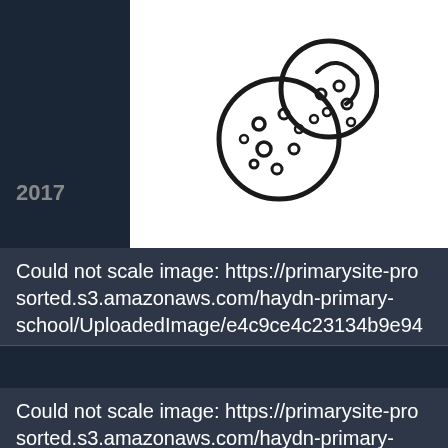[Figure (illustration): Cookie icon (two cookies, one with a bite taken out) on white background]
2017
Could not scale image: https://primarysite-pro-sorted.s3.amazonaws.com/haydn-primary-school/UploadedImage/e4c9ce4c23134b9e94
Could not scale image: https://primarysite-pro-sorted.s3.amazonaws.com/haydn-primary-school/UploadedImage/83e5ccc924444711a5
Could not scale image: https://primarysite-pro-sorted.s3.amazonaws.com/haydn-primary-school/UploadedImage/eaf67e5eb8e24d968b